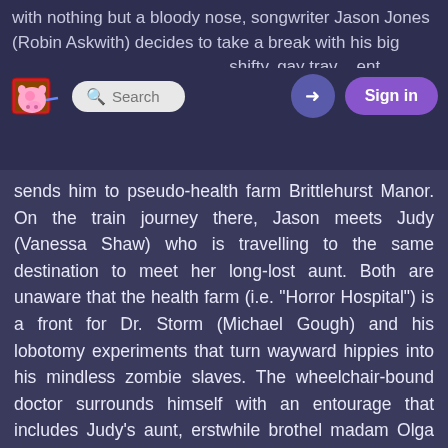with nothing but a bloody nose, songwriter Jason Jones (Robin Askwith) decides to take a break with his big business's and a shifty, gay travel agent (Dennis Price). After failing to chat Jason up, Pollock
sends him to pseudo-health farm Brittlehurst Manor. On the train journey there, Jason meets Judy (Vanessa Shaw) who is travelling to the same destination to meet her long-lost aunt. Both are unaware that the health farm (i.e. "Horror Hospital") is a front for Dr. Storm (Michael Gough) and his lobotomy experiments that turn wayward hippies into his mindless zombie slaves. The wheelchair-bound doctor surrounds himself with an entourage that includes Judy's aunt, erstwhile brothel madam Olga (Ellen Pollock), dwarf Frederick (Skip Martin) and numerous zombie biker thugs. Dr. Storm also has a Rolls Royce car, fitted with a giant blade that decapitates escapees and interfering parties. Abraham (Kurt Christian) arrives at the Horror Hospital "looking for his chick" and is promptly whacked around the head by the motorcycle zombies.